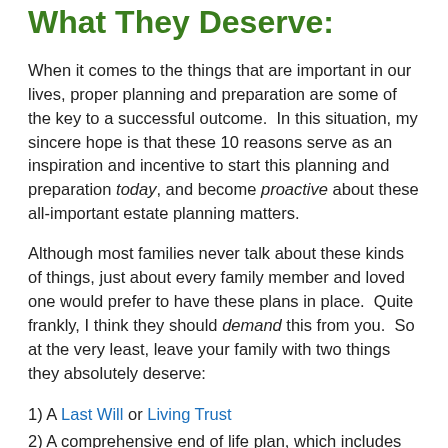Action Item – Give Your Family What They Deserve:
When it comes to the things that are important in our lives, proper planning and preparation are some of the key to a successful outcome. In this situation, my sincere hope is that these 10 reasons serve as an inspiration and incentive to start this planning and preparation today, and become proactive about these all-important estate planning matters.
Although most families never talk about these kinds of things, just about every family member and loved one would prefer to have these plans in place. Quite frankly, I think they should demand this from you. So at the very least, leave your family with two things they absolutely deserve:
1) A Last Will or Living Trust
2) A comprehensive end of life plan, which includes